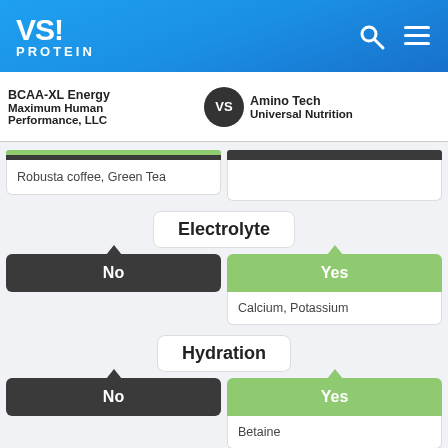VS! PROTEIN
BCAA-XL Energy Maximum Human Performance, LLC VS Amino Tech Universal Nutrition
Robusta coffee, Green Tea
Electrolyte
No
Yes
Calcium, Potassium
Hydration
No
Yes
Betaine
Vitamins / Minerals